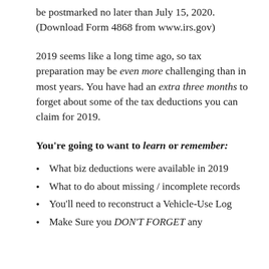be postmarked no later than July 15, 2020. (Download Form 4868 from www.irs.gov)
2019 seems like a long time ago, so tax preparation may be even more challenging than in most years. You have had an extra three months to forget about some of the tax deductions you can claim for 2019.
You're going to want to learn or remember:
What biz deductions were available in 2019
What to do about missing / incomplete records
You'll need to reconstruct a Vehicle-Use Log
Make Sure you DON'T FORGET any